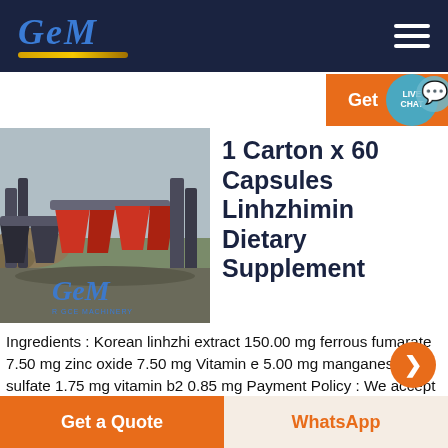GCM — navigation header with hamburger menu
Get LIVE CHAT
[Figure (photo): Industrial mining/crushing machinery with conveyor belts and hoppers, GCM branding overlay]
1 Carton x 60 Capsules Linhzhimin Dietary Supplement
Ingredients : Korean linhzhi extract 150.00 mg ferrous fumarate 7.50 mg zinc oxide 7.50 mg Vitamin e 5.00 mg manganese sulfate 1.75 mg vitamin b2 0.85 mg Payment Policy : We accept ONLY PayPal for payment. Shipping Policy Free Shipping Hand
Get a Quote
WhatsApp